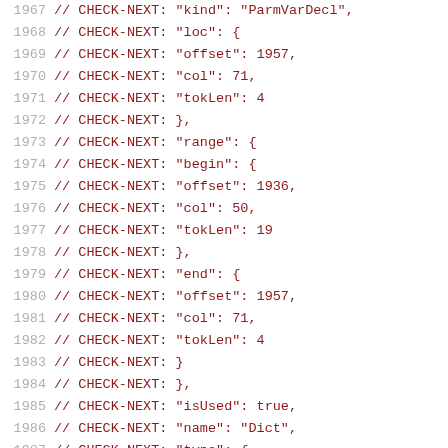1967  // CHECK-NEXT:      "kind": "ParmVarDecl",
1968  // CHECK-NEXT:      "loc": {
1969  // CHECK-NEXT:       "offset": 1957,
1970  // CHECK-NEXT:       "col": 71,
1971  // CHECK-NEXT:       "tokLen": 4
1972  // CHECK-NEXT:      },
1973  // CHECK-NEXT:      "range": {
1974  // CHECK-NEXT:       "begin": {
1975  // CHECK-NEXT:        "offset": 1936,
1976  // CHECK-NEXT:        "col": 50,
1977  // CHECK-NEXT:        "tokLen": 19
1978  // CHECK-NEXT:       },
1979  // CHECK-NEXT:       "end": {
1980  // CHECK-NEXT:        "offset": 1957,
1981  // CHECK-NEXT:        "col": 71,
1982  // CHECK-NEXT:        "tokLen": 4
1983  // CHECK-NEXT:       }
1984  // CHECK-NEXT:      },
1985  // CHECK-NEXT:      "isUsed": true,
1986  // CHECK-NEXT:      "name": "Dict",
1987  // CHECK-NEXT:      "type": {
1988  // CHECK-NEXT:       "qualType": "NSMutableDictio